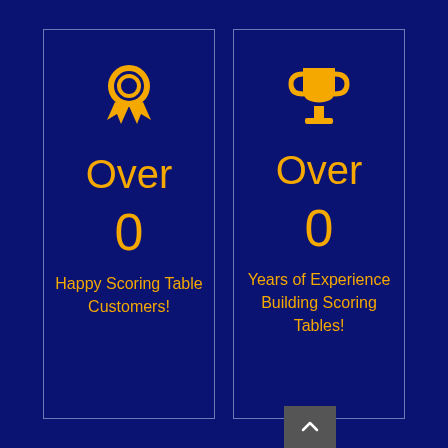[Figure (infographic): Two side-by-side cards on dark navy background. Left card has a medal/ribbon icon, text 'Over 0 Happy Scoring Table Customers!'. Right card has a trophy icon, text 'Over 0 Years of Experience Building Scoring Tables!'.]